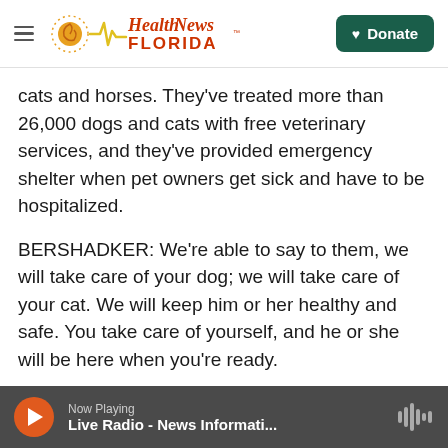Health News Florida — Donate
cats and horses. They've treated more than 26,000 dogs and cats with free veterinary services, and they've provided emergency shelter when pet owners get sick and have to be hospitalized.
BERSHADKER: We're able to say to them, we will take care of your dog; we will take care of your cat. We will keep him or her healthy and safe. You take care of yourself, and he or she will be here when you're ready.
NEIGHMOND: For Jacqueline Cruz (ph), free vet care meant she didn't have to give up her young
Now Playing — Live Radio - News Informati...